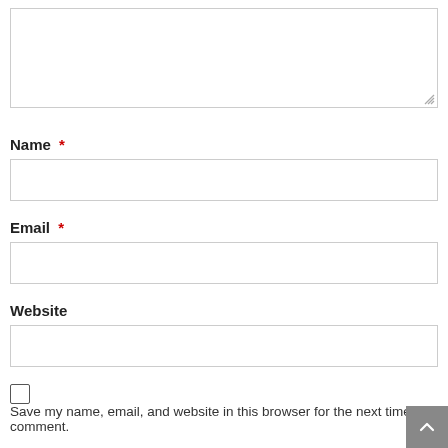[Figure (screenshot): Textarea input box at the top of the page, partially visible, with a resize handle at bottom right]
Name *
[Figure (screenshot): Name text input field, empty, with gray border]
Email *
[Figure (screenshot): Email text input field, empty, with gray border]
Website
[Figure (screenshot): Website text input field, empty, with gray border]
Save my name, email, and website in this browser for the next time I comment.